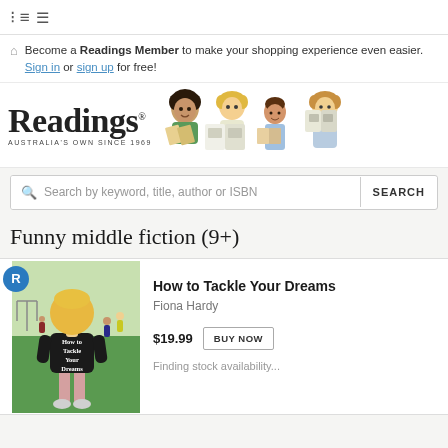[Figure (screenshot): Navigation top bar with hamburger/list icon]
Become a Readings Member to make your shopping experience even easier. Sign in or sign up for free!
[Figure (logo): Readings Australia's Own Since 1969 logo with illustrated people reading books]
Search by keyword, title, author or ISBN  SEARCH
Funny middle fiction (9+)
[Figure (illustration): Book cover for How to Tackle Your Dreams showing a girl with blonde hair in a black sports vest on a green field with players in background. Blue Readings badge in corner with R.]
How to Tackle Your Dreams
Fiona Hardy
$19.99  BUY NOW
Finding stock availability...